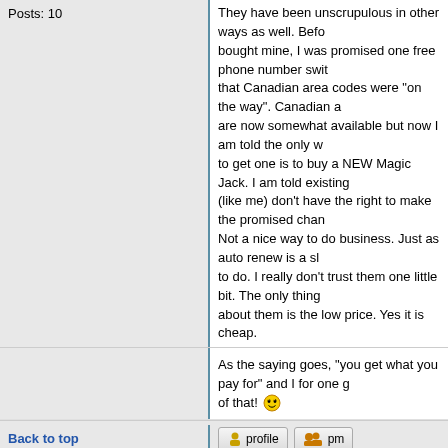Posts: 10
They have been unscrupulous in other ways as well. Before I bought mine, I was promised one free phone number switch and that Canadian area codes were "on the way". Canadian area codes are now somewhat available but now I am told the only way to get one is to buy a NEW Magic Jack. I am told existing users (like me) don't have the right to make the promised change. Not a nice way to do business. Just as auto renew is a sleazy thing to do. I really don't trust them one little bit. The only thing good about them is the low price. Yes it is cheap.
As the saying goes, "you get what you pay for" and I for one got plenty of that!
Back to top
profile
pm
imma imac
magicJack Apprentice
Joined: 13 Jun 2010
Posts: 10
Posted: Mon Jul 05, 2010 9:54 am    Post subject:
Gear-Monkey wrote:
I never gave magicjack my card number. I bought the unit at RadioShack. It expires July 21st 2010.

I just bought Ooma Core yesterday and wow... I should never have bought MagicJack to begin with. It's 100x better, more dependable and as clear as my old landline.